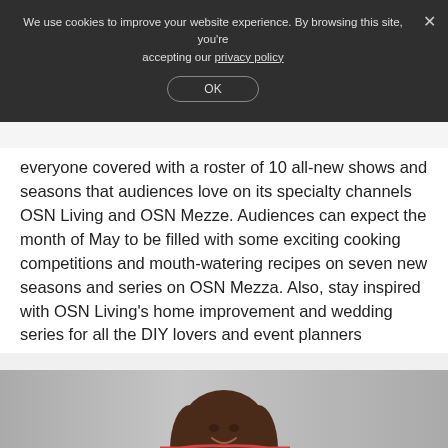We use cookies to improve your website experience. By browsing this site, you're accepting our privacy policy
everyone covered with a roster of 10 all-new shows and seasons that audiences love on its specialty channels OSN Living and OSN Mezze. Audiences can expect the month of May to be filled with some exciting cooking competitions and mouth-watering recipes on seven new seasons and series on OSN Mezza. Also, stay inspired with OSN Living's home improvement and wedding series for all the DIY lovers and event planners
View Details
[Figure (photo): Portrait photo of a woman with brown hair, smiling, on a gray background]